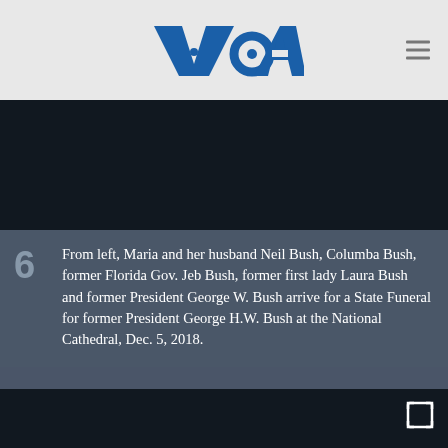VOA
[Figure (photo): Dark image area - photo placeholder (top)]
6 From left, Maria and her husband Neil Bush, Columba Bush, former Florida Gov. Jeb Bush, former first lady Laura Bush and former President George W. Bush arrive for a State Funeral for former President George H.W. Bush at the National Cathedral, Dec. 5, 2018.
[Figure (photo): Dark image area - photo/video placeholder (bottom) with expand icon]
LIVE  [video icon]  [audio icon]  [search icon]